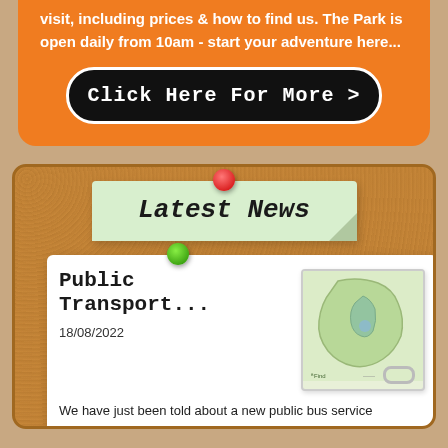visit, including prices & how to find us. The Park is open daily from 10am - start your adventure here...
[Figure (other): Black rounded button with white border reading 'Click Here For More >']
[Figure (other): Cork board background with 'Latest News' sticky note pinned with red pin, and a news card pinned with green pin showing a map thumbnail, title 'Public Transport...', date '18/08/2022', and text beginning 'We have just been told about a new public bus service available on-demand and accessed via an']